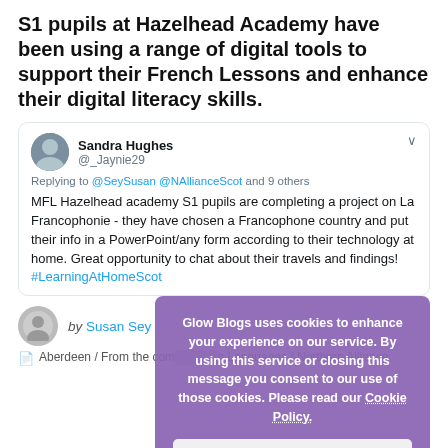S1 pupils at Hazelhead Academy have been using a range of digital tools to support their French Lessons and enhance their digital literacy skills.
[Figure (screenshot): A tweet from Sandra Hughes (@_Jaynie29) replying to @SeySusan @NAllianceScot and 9 others. Tweet text: MFL Hazelhead academy S1 pupils are completing a project on La Francophonie - they have chosen a Francophone country and put their info in a PowerPoint/any form according to their technology at home. Great opportunity to chat about their travels and findings! #LearningAtHomeScot]
by Susan Sey
Aberdeen / From the community / Modern Languages / Northern Alliance
Glow Blogs uses cookies to enhance your experience on our service. By using this service or closing this message you consent to our use of those cookies. Please read our Cookie Policy.